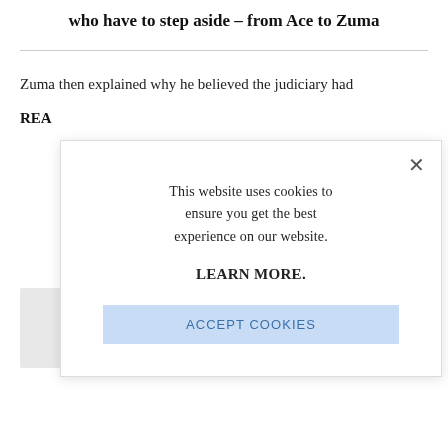who have to step aside – from Ace to Zuma
Zuma then explained why he believed the judiciary had
REA
[Figure (screenshot): Cookie consent modal dialog with close button, text 'This website uses cookies to ensure you get the best experience on our website.', LEARN MORE. link, and ACCEPT COOKIES button]
This website uses cookies to ensure you get the best experience on our website.
LEARN MORE.
ACCEPT COOKIES